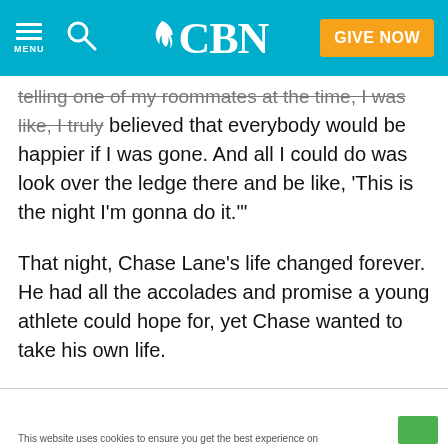CBN - GIVE NOW
telling one of my roommates at the time, I was like, I truly believed that everybody would be happier if I was gone. And all I could do was look over the ledge there and be like, 'This is the night I'm gonna do it.'"
That night, Chase Lane's life changed forever. He had all the accolades and promise a young athlete could hope for, yet Chase wanted to take his own life.
In high school, he was a highly recruited diver, holding offers from some of the country's best schools. His mother, a Christian, had some strong advice about his college choice.
This website uses cookies to ensure you get the best experience on